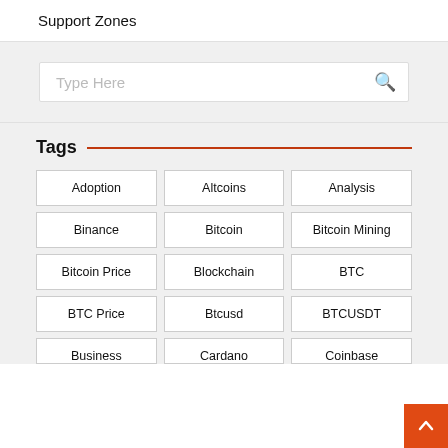Support Zones
[Figure (other): Search input box with placeholder 'Type Here' and a search (magnifier) icon button]
Tags
Adoption
Altcoins
Analysis
Binance
Bitcoin
Bitcoin Mining
Bitcoin Price
Blockchain
BTC
BTC Price
Btcusd
BTCUSDT
Business
Cardano
Coinbase